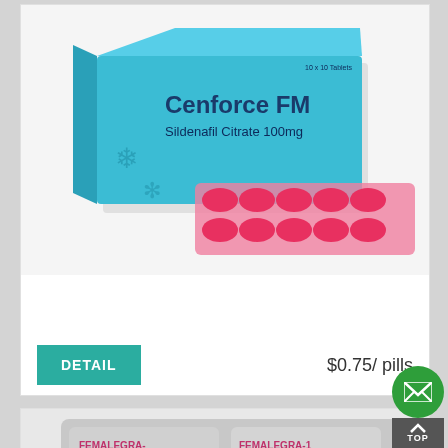[Figure (photo): Cenforce FM product image showing blue box and a blister pack of pink heart-shaped tablets]
Cenforce FM
DETAIL
$0.75/ pills
[Figure (photo): Femalegra-100 blister packs showing Sildenafil 100mg Tablet packaging]